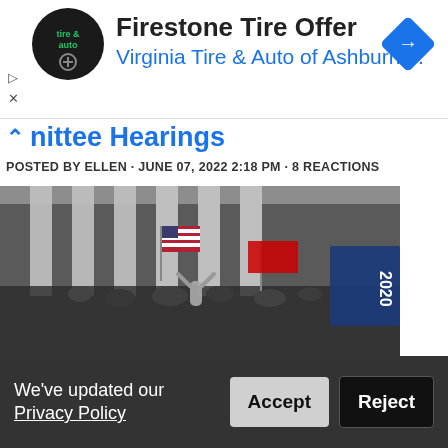[Figure (screenshot): Advertisement banner for Firestone Tire Offer from Virginia Tire & Auto of Ashburn with logo and navigation arrow icon]
nittee Hearings
POSTED BY ELLEN · JUNE 07, 2022 2:18 PM · 8 REACTIONS
[Figure (photo): Crowd of people gathered outside a building with large columns (appears to be the US Capitol), waving American flags and a Trump 2020 flag, January 6 Capitol riot scene]
We've updated our Privacy Policy
Accept
Reject